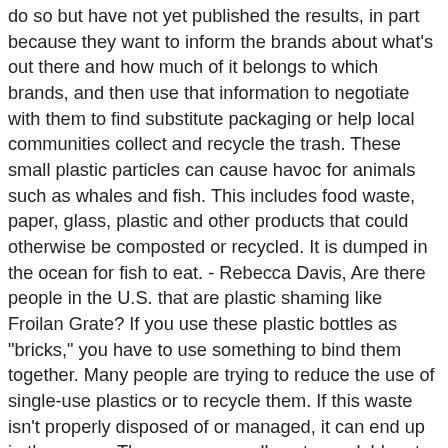do so but have not yet published the results, in part because they want to inform the brands about what's out there and how much of it belongs to which brands, and then use that information to negotiate with them to find substitute packaging or help local communities collect and recycle the trash. These small plastic particles can cause havoc for animals such as whales and fish. This includes food waste, paper, glass, plastic and other products that could otherwise be composted or recycled. It is dumped in the ocean for fish to eat. - Rebecca Davis, Are there people in the U.S. that are plastic shaming like Froilan Grate? If you use these plastic bottles as "bricks," you have to use something to bind them together. Many people are trying to reduce the use of single-use plastics or to recycle them. If this waste isn't properly disposed of or managed, it can end up in the ocean. These are generally not recyclable, at least not without expensive technology that is not widely available, because they're made of mixed materials. Many plastic products are single-use items that are designed to be thrown out, like water